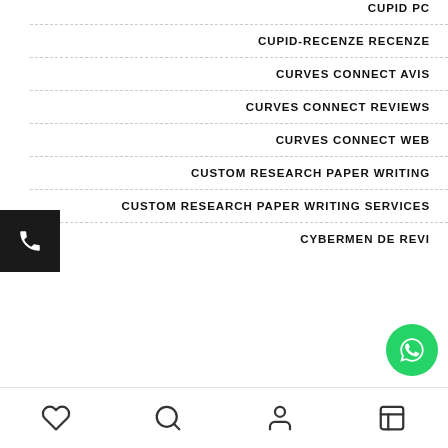CUPID PC
CUPID-RECENZE RECENZE
CURVES CONNECT AVIS
CURVES CONNECT REVIEWS
CURVES CONNECT WEB
CUSTOM RESEARCH PAPER WRITING
CUSTOM RESEARCH PAPER WRITING SERVICES
CYBERMEN DE REVI…